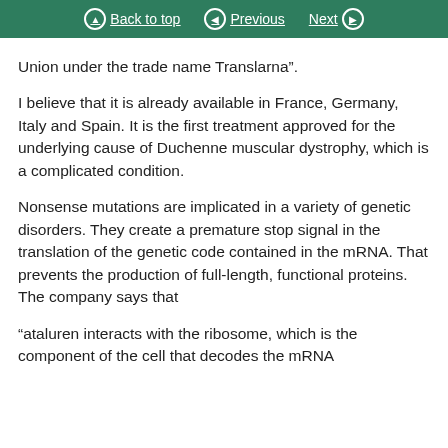Back to top | Previous | Next
Union under the trade name Translarna".
I believe that it is already available in France, Germany, Italy and Spain. It is the first treatment approved for the underlying cause of Duchenne muscular dystrophy, which is a complicated condition.
Nonsense mutations are implicated in a variety of genetic disorders. They create a premature stop signal in the translation of the genetic code contained in the mRNA. That prevents the production of full-length, functional proteins. The company says that
“ataluren interacts with the ribosome, which is the component of the cell that decodes the mRNA